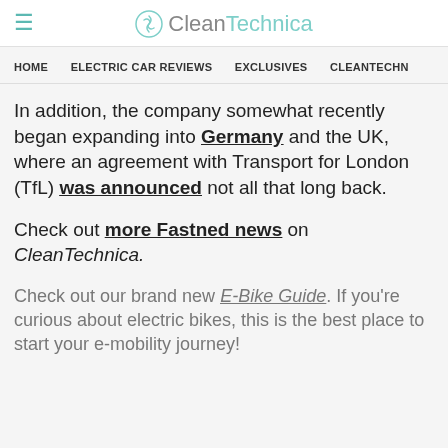CleanTechnica
HOME | ELECTRIC CAR REVIEWS | EXCLUSIVES | CLEANTECHN
In addition, the company somewhat recently began expanding into Germany and the UK, where an agreement with Transport for London (TfL) was announced not all that long back.
Check out more Fastned news on CleanTechnica.
Check out our brand new E-Bike Guide. If you're curious about electric bikes, this is the best place to start your e-mobility journey!